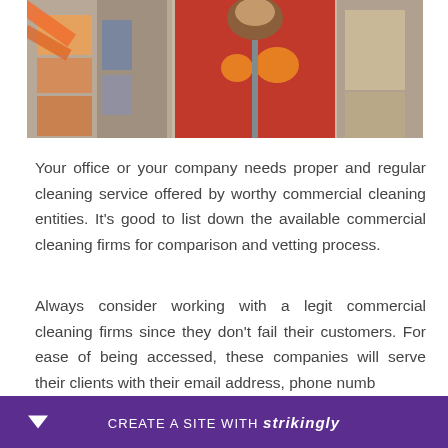[Figure (photo): A person in a red jacket holding a cleaning mop/broom, wearing orange gloves, with an industrial storage background on the left side.]
Your office or your company needs proper and regular cleaning service offered by worthy commercial cleaning entities. It's good to list down the available commercial cleaning firms for comparison and vetting process.
Always consider working with a legit commercial cleaning firms since they don't fail their customers. For ease of being accessed, these companies will serve their clients with their email address, phone numb
CREATE A SITE WITH strikingly